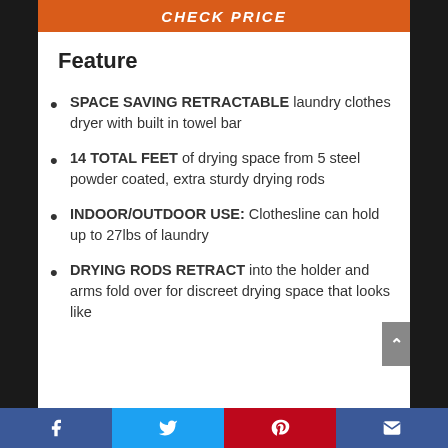[Figure (other): Orange 'CHECK PRICE' button banner at top]
Feature
SPACE SAVING RETRACTABLE laundry clothes dryer with built in towel bar
14 TOTAL FEET of drying space from 5 steel powder coated, extra sturdy drying rods
INDOOR/OUTDOOR USE: Clothesline can hold up to 27lbs of laundry
DRYING RODS RETRACT into the holder and arms fold over for discreet drying space that looks like
Facebook  Twitter  Pinterest  Email social share bar